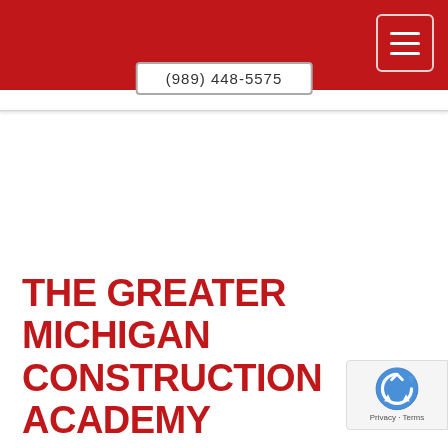(989) 448-5575
THE GREATER MICHIGAN CONSTRUCTION ACADEMY
[Figure (logo): reCAPTCHA badge with Privacy and Terms links]